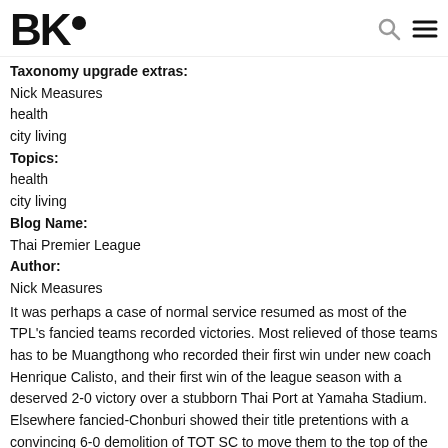BK• [logo with search and menu icons]
Taxonomy upgrade extras:
Nick Measures
health
city living
Topics:
health
city living
Blog Name:
Thai Premier League
Author:
Nick Measures
It was perhaps a case of normal service resumed as most of the TPL's fancied teams recorded victories. Most relieved of those teams has to be Muangthong who recorded their first win under new coach Henrique Calisto, and their first win of the league season with a deserved 2-0 victory over a stubborn Thai Port at Yamaha Stadium. Elsewhere fancied-Chonburi showed their title pretentions with a convincing 6-0 demolition of TOT SC to move them to the top of the table.
Read more